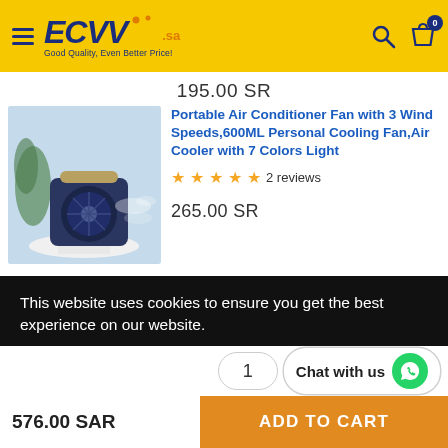[Figure (logo): ECVV.sa logo on yellow header with hamburger menu, search icon, and shopping bag with 0 badge]
195.00 SR
[Figure (photo): Portable air conditioner fan product photo - blue device with misting effect on white table with plant background]
Portable Air Conditioner Fan with 3 Wind Speeds,600ML Personal Cooling Fan,Air Cooler with 7 Colors Light
2 reviews
265.00 SR
This website uses cookies to ensure you get the best experience on our website.
Learn more
1
Chat with us
576.00 SAR
ADD TO CART